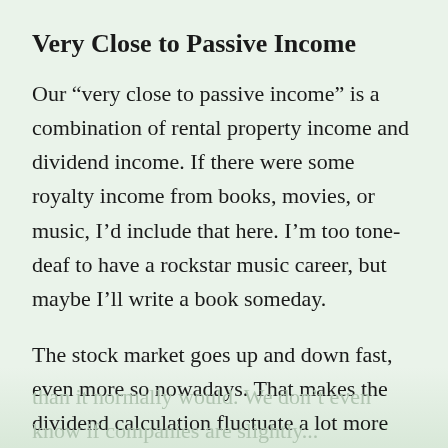Very Close to Passive Income
Our “very close to passive income” is a combination of rental property income and dividend income. If there were some royalty income from books, movies, or music, I’d include that here. I’m too tone-deaf to have a rockstar music career, but maybe I’ll write a book someday.
The stock market goes up and down fast, even more so nowadays. That makes the dividend calculation fluctuate a lot more than it normally would. We don’t even know if companies are slightly...